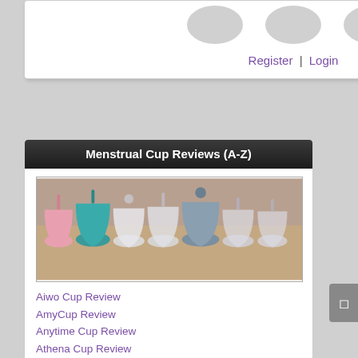Register | Login
Menstrual Cup Reviews (A-Z)
[Figure (photo): Photo of multiple menstrual cups of different colors and sizes lined up on a surface]
Aiwo Cup Review
AmyCup Review
Anytime Cup Review
Athena Cup Review
Bella Cup Review
Blossom Cup Review
Calla Cup Review
Casco Cup Review
Clari Cup Review
CleoCup Review
CupLee Review
Diva Cup Review